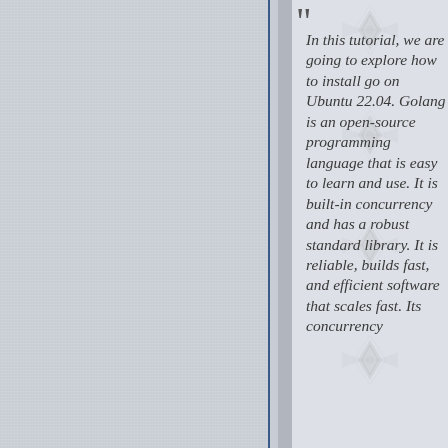In this tutorial, we are going to explore how to install go on Ubuntu 22.04. Golang is an open-source programming language that is easy to learn and use. It is built-in concurrency and has a robust standard library. It is reliable, builds fast, and efficient software that scales fast. Its concurrency